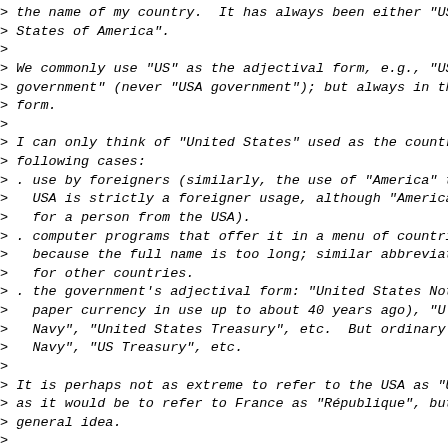> the name of my country.  It has always been either "USA
> States of America".
>
> We commonly use "US" as the adjectival form, e.g., "US
> government" (never "USA government"); but always in the
> form.
>
> I can only think of "United States" used as the country
> following cases:
> . use by foreigners (similarly, the use of "America" to
>   USA is strictly a foreigner usage, although "America
>   for a person from the USA).
> . computer programs that offer it in a menu of countrie
>   because the full name is too long; similar abbreviat
>   for other countries.
> . the government's adjectival form: "United States Note
>   paper currency in use up to about 40 years ago), "U
>   Navy", "United States Treasury", etc.  But ordinary
>   Navy", "US Treasury", etc.
>
> It is perhaps not as extreme to refer to the USA as "U
> as it would be to refer to France as "République", but
> general idea.
>
>> some other countries can have a "United States" part i
>> country name.
>
> Americans, at least those in the southwest, are also q
> other nations called "United States".  México is on ou
> border!